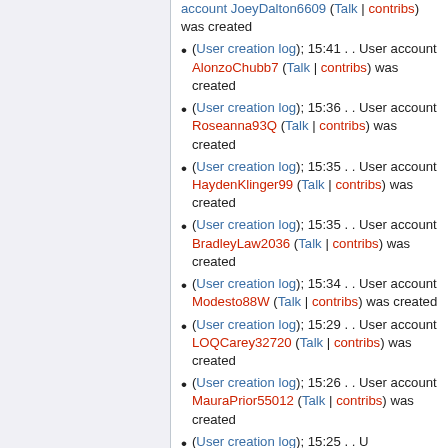(User creation log); 15:41 . . User account AlonzoChubb7 (Talk | contribs) was created
(User creation log); 15:36 . . User account Roseanna93Q (Talk | contribs) was created
(User creation log); 15:35 . . User account HaydenKlinger99 (Talk | contribs) was created
(User creation log); 15:35 . . User account BradleyLaw2036 (Talk | contribs) was created
(User creation log); 15:34 . . User account Modesto88W (Talk | contribs) was created
(User creation log); 15:29 . . User account LOQCarey32720 (Talk | contribs) was created
(User creation log); 15:26 . . User account MauraPrior55012 (Talk | contribs) was created